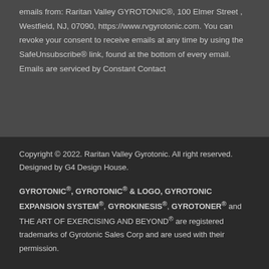emails from: Raritan Valley GYROTONIC®, 100 Elmer Street , Westfield, NJ, 07090, https://www.rvgyrotonic.com. You can revoke your consent to receive emails at any time by using the SafeUnsubscribe® link, found at the bottom of every email. Emails are serviced by Constant Contact
Copyright © 2022. Raritan Valley Gyrotonic. All right reserved. Designed by G4 Design House.
GYROTONIC®, GYROTONIC® & LOGO, GYROTONIC EXPANSION SYSTEM®, GYROKINESIS®, GYROTONER® and THE ART OF EXERCISING AND BEYOND® are registered trademarks of Gyrotonic Sales Corp and are used with their permission.